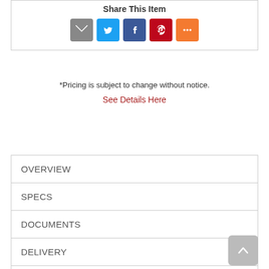Share This Item
[Figure (infographic): Social sharing icons: email (grey), Twitter (blue), Facebook (dark blue), Pinterest (red), More (orange)]
*Pricing is subject to change without notice.
See Details Here
OVERVIEW
SPECS
DOCUMENTS
DELIVERY
WARRANTY